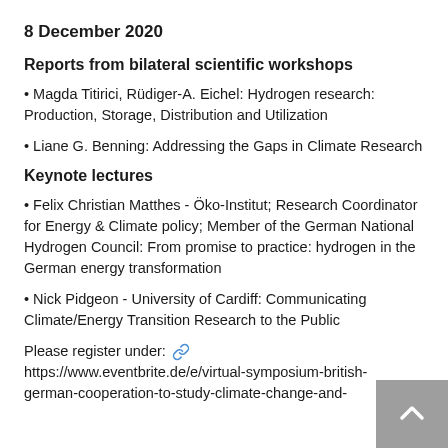8 December 2020
Reports from bilateral scientific workshops
• Magda Titirici, Rüdiger-A. Eichel: Hydrogen research: Production, Storage, Distribution and Utilization
• Liane G. Benning: Addressing the Gaps in Climate Research
Keynote lectures
• Felix Christian Matthes - Öko-Institut; Research Coordinator for Energy & Climate policy; Member of the German National Hydrogen Council: From promise to practice: hydrogen in the German energy transformation
• Nick Pidgeon - University of Cardiff: Communicating Climate/Energy Transition Research to the Public
Please register under: 🔗 https://www.eventbrite.de/e/virtual-symposium-british-german-cooperation-to-study-climate-change-and-